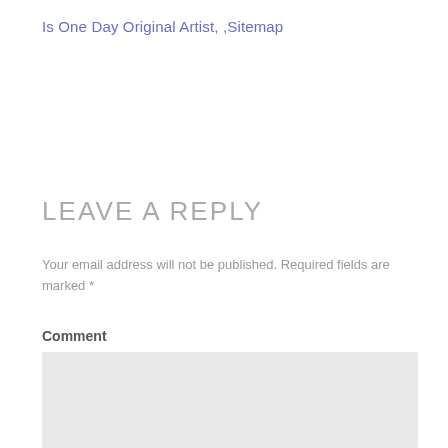Is One Day Original Artist, ,Sitemap
LEAVE A REPLY
Your email address will not be published. Required fields are marked *
Comment